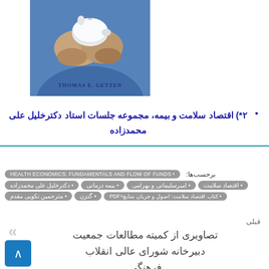[Figure (photo): Book cover image showing hands holding a white piggy bank with blue background, with author name THOMAS E. GETZEN]
۲*) اقتصاد سلامت و بیمه، مجموعه جلسات استاد دکترخلیل علی محمدزاده
برجسب‌ها: • HEALTH ECONOMICS: FUNDAMENTALS AND FLOW OF FUNDS
اقتصاد سلامت • امیرسلیمانی و بهرامی • بیمه درمانی • دکترخلیل علی محمدزاده
کتاب اقتصاد سلامت: اصول و جریان منابع+PDF • گتزن • مترجمین نکویی مقدم
قبلی
تصاویری از کمیته مطالعات جمعیت دبیرخانه شورای عالی انقلاب فرهنگی